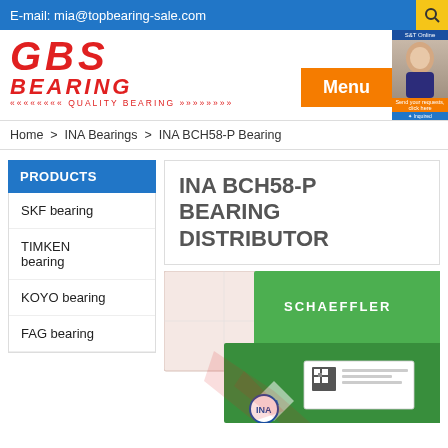E-mail: mia@topbearing-sale.com
[Figure (logo): GBS Bearing logo with red stylized text and quality bearing tagline]
Menu
Home > INA Bearings > INA BCH58-P Bearing
PRODUCTS
SKF bearing
TIMKEN bearing
KOYO bearing
FAG bearing
INA BCH58-P BEARING DISTRIBUTOR
[Figure (photo): Product photo showing INA/Schaeffler bearing boxes in green packaging with Schaeffler branding and INA logo]